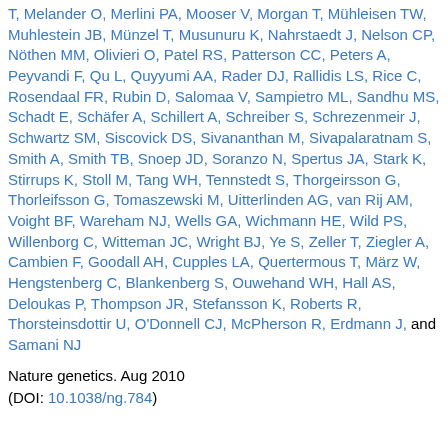T, Melander O, Merlini PA, Mooser V, Morgan T, Mühleisen TW, Muhlestein JB, Münzel T, Musunuru K, Nahrstaedt J, Nelson CP, Nöthen MM, Olivieri O, Patel RS, Patterson CC, Peters A, Peyvandi F, Qu L, Quyyumi AA, Rader DJ, Rallidis LS, Rice C, Rosendaal FR, Rubin D, Salomaa V, Sampietro ML, Sandhu MS, Schadt E, Schäfer A, Schillert A, Schreiber S, Schrezenmeir J, Schwartz SM, Siscovick DS, Sivananthan M, Sivapalaratnam S, Smith A, Smith TB, Snoep JD, Soranzo N, Spertus JA, Stark K, Stirrups K, Stoll M, Tang WH, Tennstedt S, Thorgeirsson G, Thorleifsson G, Tomaszewski M, Uitterlinden AG, van Rij AM, Voight BF, Wareham NJ, Wells GA, Wichmann HE, Wild PS, Willenborg C, Witteman JC, Wright BJ, Ye S, Zeller T, Ziegler A, Cambien F, Goodall AH, Cupples LA, Quertermous T, März W, Hengstenberg C, Blankenberg S, Ouwehand WH, Hall AS, Deloukas P, Thompson JR, Stefansson K, Roberts R, Thorsteinsdottir U, O'Donnell CJ, McPherson R, Erdmann J, and Samani NJ
Nature genetics. Aug 2010
(DOI: 10.1038/ng.784)